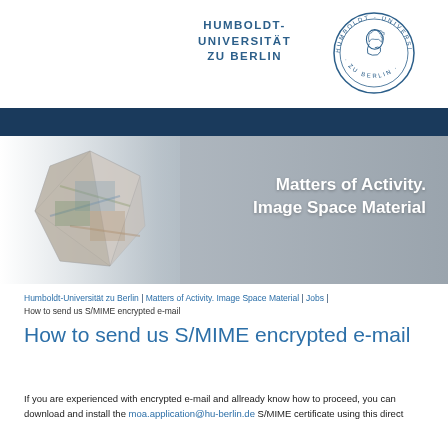HUMBOLDT-
UNIVERSITÄT
ZU BERLIN
[Figure (logo): Humboldt-Universität zu Berlin circular logo with profile of Wilhelm von Humboldt]
[Figure (illustration): Banner with crystalline geometric collage image on left and gradient background with text 'Matters of Activity. Image Space Material' on right]
Humboldt-Universität zu Berlin | Matters of Activity. Image Space Material | Jobs | How to send us S/MIME encrypted e-mail
How to send us S/MIME encrypted e-mail
If you are experienced with encrypted e-mail and allready know how to proceed, you can download and install the moa.application@hu-berlin.de S/MIME certificate using this direct